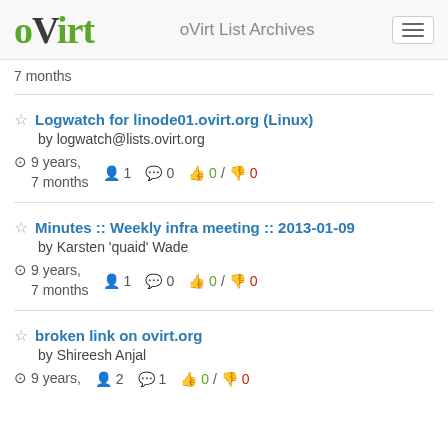oVirt | oVirt List Archives
7 months
Logwatch for linode01.ovirt.org (Linux) by logwatch@lists.ovirt.org — 9 years, 7 months — 1 member, 0 replies, 0/0 votes
Minutes :: Weekly infra meeting :: 2013-01-09 by Karsten 'quaid' Wade — 9 years, 7 months — 1 member, 0 replies, 0/0 votes
broken link on ovirt.org by Shireesh Anjal — 9 years, ... — 2 members, 1 reply, 0/0 votes